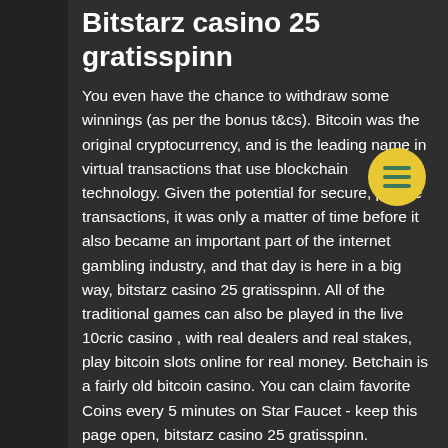Bitstarz casino 25 gratisspinn
You even have the chance to withdraw some winnings (as per the bonus t&cs). Bitcoin was the original cryptocurrency, and is the leading name in virtual transactions that use blockchain technology. Given the potential for secure, private transactions, it was only a matter of time before it also became an important part of the internet gambling industry, and that day is here in a big way, bitstarz casino 25 gratisspinn. All of the traditional games can also be played in the live 10cric casino , with real dealers and real stakes, play bitcoin slots online for real money. Betchain is a fairly old bitcoin casino. You can claim favorite Coins every 5 minutes on Star Faucet - keep this page open, bitstarz casino 25 gratisspinn.
Los Satoshis conseguidos se acumulan en Coinpot. Recompensa : 3 Satoshis Tiempo